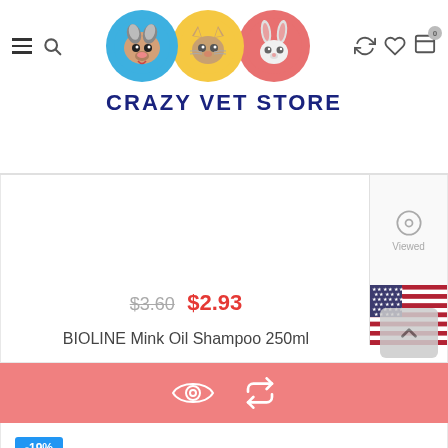CRAZY VET STORE
[Figure (screenshot): Product listing showing BIOLINE Mink Oil Shampoo 250ml with original price $3.60 and sale price $2.93, with Viewed panel and US flag on right side]
$3.60 $2.93
BIOLINE Mink Oil Shampoo 250ml
[Figure (infographic): Pink action bar with eye icon and refresh/compare icon]
-19%